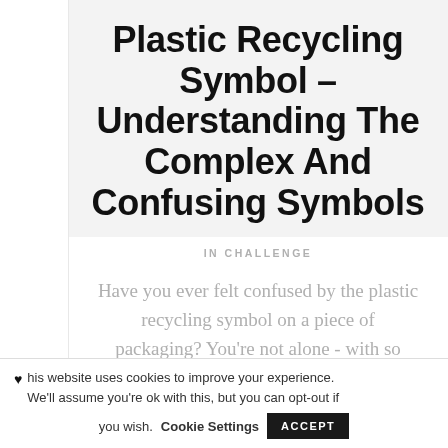Plastic Recycling Symbol – Understanding The Complex And Confusing Symbols
IN CHALLENGE
Have you ever felt confused by the plastic recycling symbol on a piece of packaging? You're not alone - with so many variations
his website uses cookies to improve your experience. We'll assume you're ok with this, but you can opt-out if you wish. Cookie Settings ACCEPT